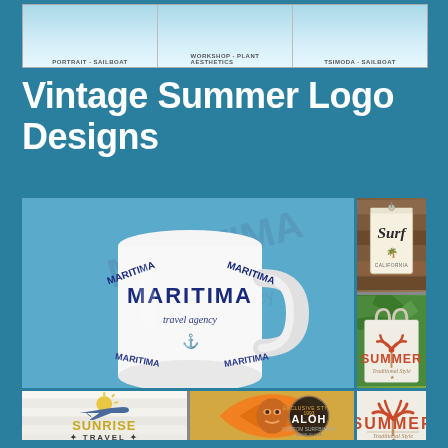[Figure (illustration): Top banner strip showing three thumbnail images of logo/design examples with small text labels]
Vintage Summer Logo Designs
[Figure (photo): Collage of vintage summer logo designs: white mug with MARITIMA travel agency nautical logo in blue, a hang tag with Surf script logo, a tote bag with SUMMER red palm tree design, SUNRISE TRAVEL airplane logo on white wood, surfboard with Aloha tiki pattern, and ALOHA custom surfboard badge]